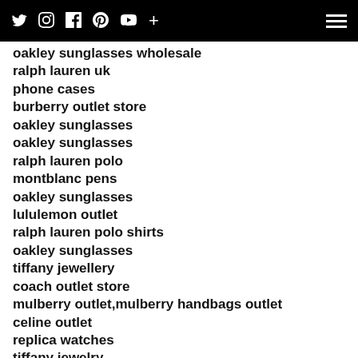Twitter Instagram Facebook Pinterest YouTube Plus | Menu
oakley sunglasses wholesale
ralph lauren uk
phone cases
burberry outlet store
oakley sunglasses
oakley sunglasses
ralph lauren polo
montblanc pens
oakley sunglasses
lululemon outlet
ralph lauren polo shirts
oakley sunglasses
tiffany jewellery
coach outlet store
mulberry outlet,mulberry handbags outlet
celine outlet
replica watches
tiffany jewelry
fitflops outlet sale